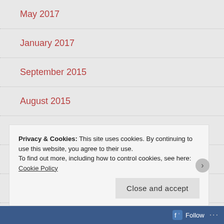May 2017
January 2017
September 2015
August 2015
July 2015
June 2015
May 2015
Privacy & Cookies: This site uses cookies. By continuing to use this website, you agree to their use.
To find out more, including how to control cookies, see here: Cookie Policy
Close and accept
Follow ...